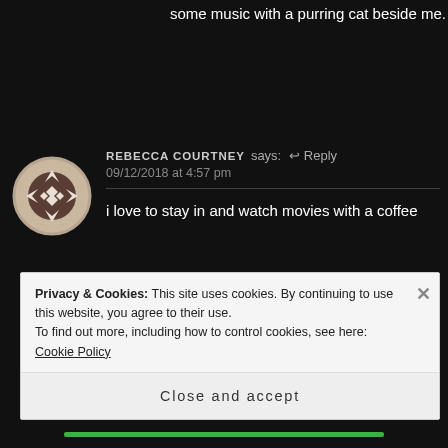some music with a purring cat beside me.
[Figure (illustration): User avatar: circular icon with geometric cross/diamond pattern in brown and white tones]
REBECCA COURTNEY says: ↩ Reply
09/12/2018 at 4:57 pm
i love to stay in and watch movies with a coffee
Privacy & Cookies: This site uses cookies. By continuing to use this website, you agree to their use.
To find out more, including how to control cookies, see here: Cookie Policy
Close and accept